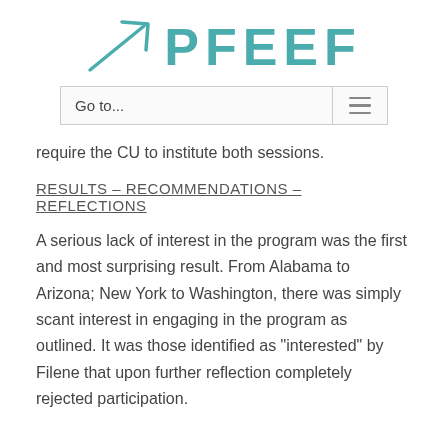PFEEF
require the CU to institute both sessions.
RESULTS – RECOMMENDATIONS – REFLECTIONS
A serious lack of interest in the program was the first and most surprising result. From Alabama to Arizona; New York to Washington, there was simply scant interest in engaging in the program as outlined. It was those identified as “interested” by Filene that upon further reflection completely rejected participation.